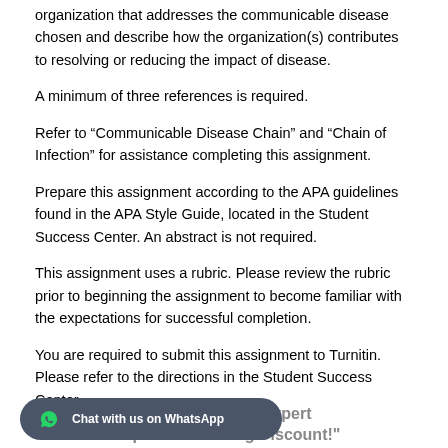organization that addresses the communicable disease chosen and describe how the organization(s) contributes to resolving or reducing the impact of disease.
A minimum of three references is required.
Refer to “Communicable Disease Chain” and “Chain of Infection” for assistance completing this assignment.
Prepare this assignment according to the APA guidelines found in the APA Style Guide, located in the Student Success Center. An abstract is not required.
This assignment uses a rubric. Please review the rubric prior to beginning the assignment to become familiar with the expectations for successful completion.
You are required to submit this assignment to Turnitin. Please refer to the directions in the Student Success Center.
[Figure (other): WhatsApp chat widget button with text 'Chat with us on WhatsApp']
ssignment? Get Expert Help at an Amazing Discount!"